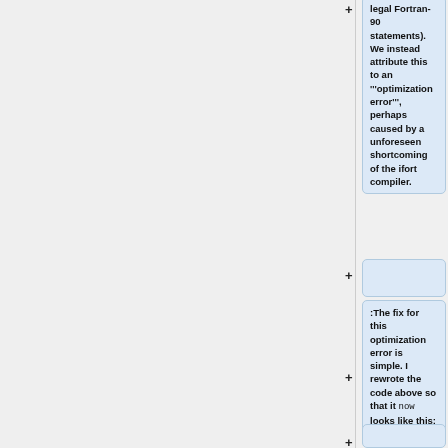legal Fortran-90 statements). We instead attribute this to an '''optimization error''', perhaps caused by a unforeseen shortcoming of the ifort compiler.
:The fix for this optimization error is simple. I rewrote the code above so that it now looks like this: